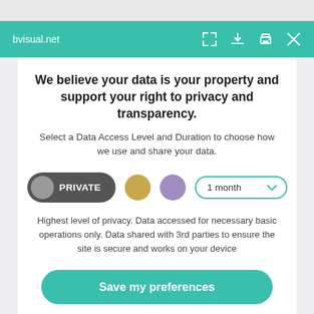bvisual.net
We believe your data is your property and support your right to privacy and transparency.
Select a Data Access Level and Duration to choose how we use and share your data.
PRIVATE   1 month
Highest level of privacy. Data accessed for necessary basic operations only. Data shared with 3rd parties to ensure the site is secure and works on your device
Save my preferences
Customize   Privacy policy